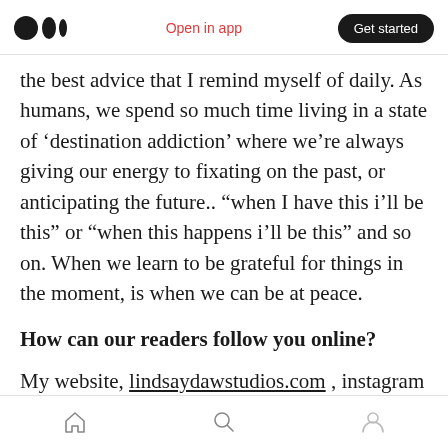Open in app | Get started
the best advice that I remind myself of daily. As humans, we spend so much time living in a state of ‘destination addiction’ where we’re always giving our energy to fixating on the past, or anticipating the future.. “when I have this i’ll be this” or “when this happens i’ll be this” and so on. When we learn to be grateful for things in the moment, is when we can be at peace.
How can our readers follow you online?
My website, lindsaydawstudios.com , instagram @itslindsaydawn and @lindsaydawnstudios,